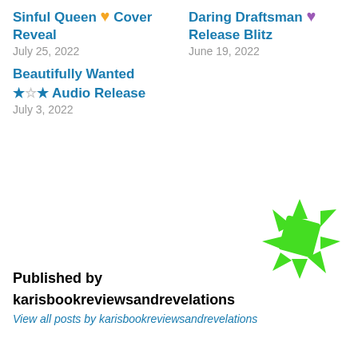Sinful Queen 🧡 Cover Reveal
July 25, 2022
Daring Draftsman 💜 Release Blitz
June 19, 2022
Beautifully Wanted ★☆★ Audio Release
July 3, 2022
Published by
karisbookreviewsandrevelations
View all posts by karisbookreviewsandrevelations